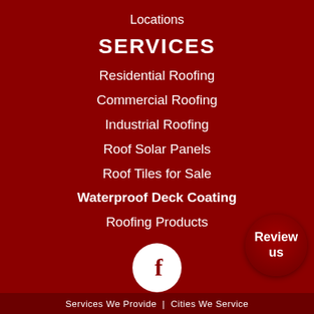Locations
SERVICES
Residential Roofing
Commercial Roofing
Industrial Roofing
Roof Solar Panels
Roof Tiles for Sale
Waterproof Deck Coating
Roofing Products
[Figure (logo): Facebook logo circle - white circle with dark red F]
[Figure (other): Review us button - dark red circle with white text Review us]
Services We Provide  |  Cities We Service